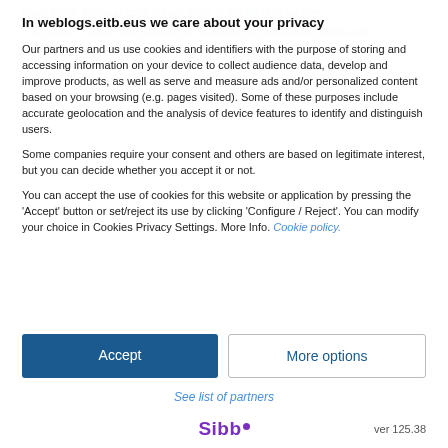Pairs Final: Berasaluze's dream ends in the blink of an eye
Promocion Pairs Final: triumph for Ezcaray as Gorka and Cecilio are crowned
In weblogs.eitb.eus we care about your privacy
Our partners and us use cookies and identifiers with the purpose of storing and accessing information on your device to collect audience data, develop and improve products, as well as serve and measure ads and/or personalized content based on your browsing (e.g. pages visited). Some of these purposes include accurate geolocation and the analysis of device features to identify and distinguish users.
Some companies require your consent and others are based on legitimate interest, but you can decide whether you accept it or not.
You can accept the use of cookies for this website or application by pressing the 'Accept' button or set/reject its use by clicking 'Configure / Reject'. You can modify your choice in Cookies Privacy Settings. More Info. Cookie policy.
Accept
More options
See list of partners
[Figure (logo): Sibbo logo with purple text and dot]
ver 125.38